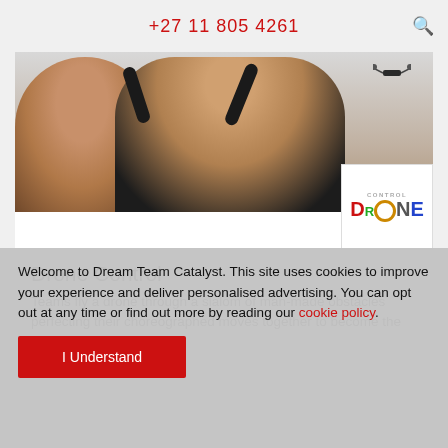+27 11 805 4261
[Figure (photo): Two people, one with arms raised and a drone visible in the upper right. A Drone Control logo appears in the lower right corner of the image area.]
Drone Control
Teams fly a drone through a slalom of man-made obstacles perfecting their choreographed moves together to become the winning team!
Welcome to Dream Team Catalyst. This site uses cookies to improve your experience and deliver personalised advertising. You can opt out at any time or find out more by reading our cookie policy.